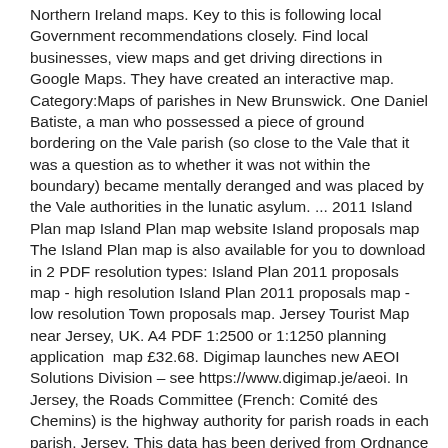Northern Ireland maps. Key to this is following local Government recommendations closely. Find local businesses, view maps and get driving directions in Google Maps. They have created an interactive map. Category:Maps of parishes in New Brunswick. One Daniel Batiste, a man who possessed a piece of ground bordering on the Vale parish (so close to the Vale that it was a question as to whether it was not within the boundary) became mentally deranged and was placed by the Vale authorities in the lunatic asylum. ... 2011 Island Plan map Island Plan map website Island proposals map The Island Plan map is also available for you to download in 2 PDF resolution types: Island Plan 2011 proposals map - high resolution Island Plan 2011 proposals map - low resolution Town proposals map. Jersey Tourist Map near Jersey, UK. A4 PDF 1:2500 or 1:1250 planning application  map £32.68. Digimap launches new AEOI Solutions Division – see https://www.digimap.je/aeoi. In Jersey, the Roads Committee (French: Comité des Chemins) is the highway authority for parish roads in each parish. Jersey. This data has been derived from Ordnance Survey base mapping. Learn how to create your own. Do test and check it is accurate - and enjoy your boating! As the situation evolves, we will continue to follow the advice from the Government, which can be found at https://www.gov.je/.../C.../Pages/CoronavirusBusinessAdvice.a no ratings. Digimap proactively work with our customers as we help create an end-to-end solution, from concept to deployment integrating legacy technologies from the past, dealing with present needs and creating a solid system for the future. Parish Boundaries. Mapophile added Jun 28, 2009. Parishes of Jersey Buy data Donate Updates: The results of the 2011 census have been released, click for